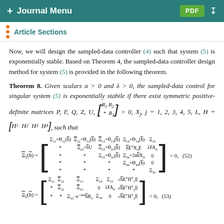+ Journal Menu  PDF
Article Sections
Now, we will design the sampled-data controller (4) such that system (5) is exponentially stable. Based on Theorem 4, the sampled-data controller design method for system (5) is provided in the following theorem.
Theorem 8. Given scalars α > 0 and λ > 0, the sampled-data control for singular system (5) is exponentially stabile if there exist symmetric positive-definite matrices P, F, Q, Z, U, [[R1 R2; * R3]] > 0, Xj, j = 1, 2, 3, 4, 5, L, H = [H1 H2 H3 H4], such that